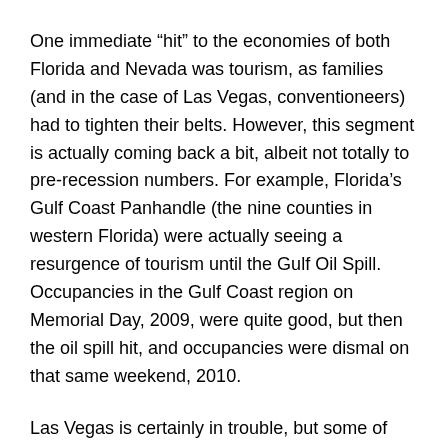One immediate “hit” to the economies of both Florida and Nevada was tourism, as families (and in the case of Las Vegas, conventioneers) had to tighten their belts. However, this segment is actually coming back a bit, albeit not totally to pre-recession numbers. For example, Florida’s Gulf Coast Panhandle (the nine counties in western Florida) were actually seeing a resurgence of tourism until the Gulf Oil Spill. Occupancies in the Gulf Coast region on Memorial Day, 2009, were quite good, but then the oil spill hit, and occupancies were dismal on that same weekend, 2010.
Las Vegas is certainly in trouble, but some of that came from overbuilding. The Saraha just closed — it had been slated for a makeover, but the owners have decided to “go dark” for a while instead, waiting for the economy to turn.